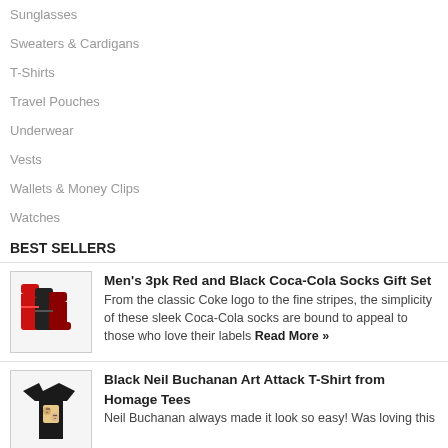Sunglasses
Sweaters & Cardigans
T-Shirts
Travel Pouches
Underwear
Vests
Wallets & Money Clips
Watches
BEST SELLERS
[Figure (photo): Red and black Coca-Cola socks, 3-pack gift set]
Men's 3pk Red and Black Coca-Cola Socks Gift Set. From the classic Coke logo to the fine stripes, the simplicity of these sleek Coca-Cola socks are bound to appeal to those who love their labels Read More »
[Figure (photo): Black Neil Buchanan Art Attack T-Shirt]
Black Neil Buchanan Art Attack T-Shirt from Homage Tees. Neil Buchanan always made it look so easy! Was loving this